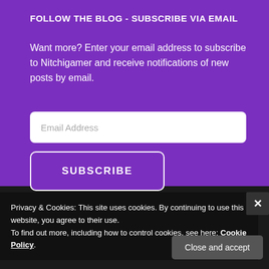FOLLOW THE BLOG - SUBSCRIBE VIA EMAIL
Want more? Enter your email address to subscribe to Nitchigamer and receive notifications of new posts by email.
Email Address
SUBSCRIBE
Join 2,943 other subscribers.
Privacy & Cookies: This site uses cookies. By continuing to use this website, you agree to their use.
To find out more, including how to control cookies, see here: Cookie Policy
Close and accept